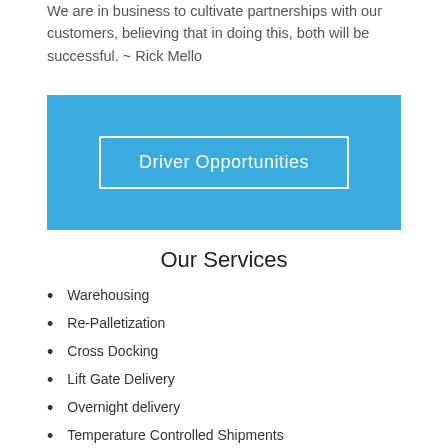We are in business to cultivate partnerships with our customers, believing that in doing this, both will be successful. ~ Rick Mello
[Figure (other): Blue banner with white-bordered button labeled 'Driver Opportunities']
Our Services
Warehousing
Re-Palletization
Cross Docking
Lift Gate Delivery
Overnight delivery
Temperature Controlled Shipments